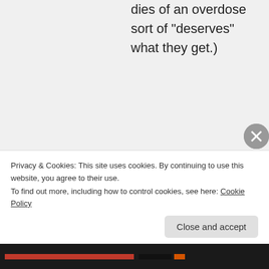dies of an overdose sort of “deserves” what they get.)
Smaktakula on April 26, 2013 at 4:36 pm
I did misunderstand completely. Okay, not cool. I'm with you. It
Privacy & Cookies: This site uses cookies. By continuing to use this website, you agree to their use.
To find out more, including how to control cookies, see here: Cookie Policy
Close and accept